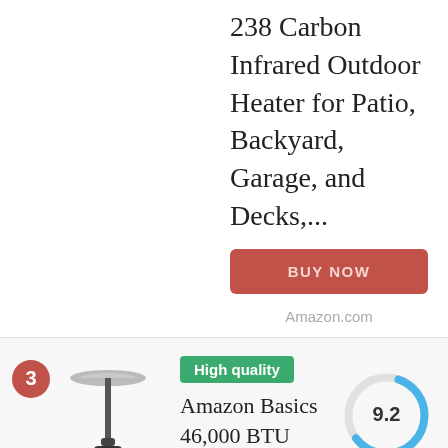238 Carbon Infrared Outdoor Heater for Patio, Backyard, Garage, and Decks,...
BUY NOW
Amazon.com
3
High quality
Amazon Basics 46,000 BTU Outdoor Propane Patio Heater with
[Figure (other): Donut/ring chart showing score 9.2, with blue arc on top-right and gray arc elsewhere]
[Figure (photo): Patio heater product image - tall standing propane heater with umbrella top, black base]
Leave a Comment